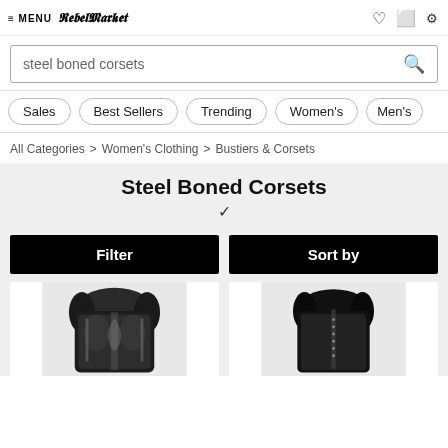MENU | Rebel Market logo | icons
steel boned corsets
Sales
Best Sellers
Trending
Women's
Men's
All Categories > Women's Clothing > Bustiers & Corsets
Steel Boned Corsets
[Figure (screenshot): Filter button (black) and Sort by button (black) side by side]
[Figure (photo): Two corset product images: left is a black floral brocade steel boned corset, right is a plain black steel boned corset]